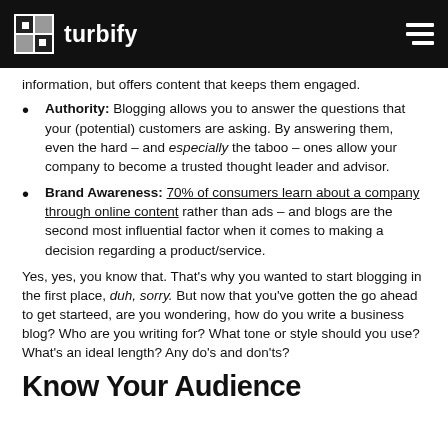turbify
information, but offers content that keeps them engaged.
Authority: Blogging allows you to answer the questions that your (potential) customers are asking. By answering them, even the hard – and especially the taboo – ones allow your company to become a trusted thought leader and advisor.
Brand Awareness: 70% of consumers learn about a company through online content rather than ads – and blogs are the second most influential factor when it comes to making a decision regarding a product/service.
Yes, yes, you know that. That's why you wanted to start blogging in the first place, duh, sorry. But now that you've gotten the go ahead to get starteed, are you wondering, how do you write a business blog? Who are you writing for? What tone or style should you use? What's an ideal length? Any do's and don'ts?
Know Your Audience